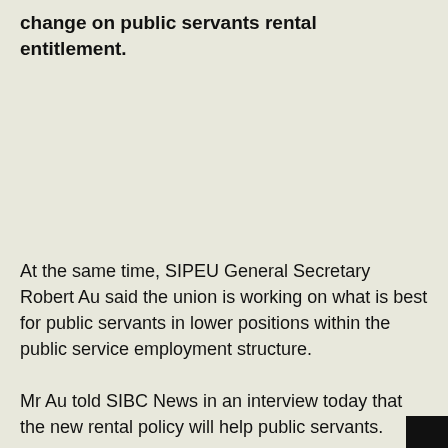change on public servants rental entitlement.
At the same time, SIPEU General Secretary Robert Au said the union is working on what is best for public servants in lower positions within the public service employment structure.
Mr Au told SIBC News in an interview today that the new rental policy will help public servants.